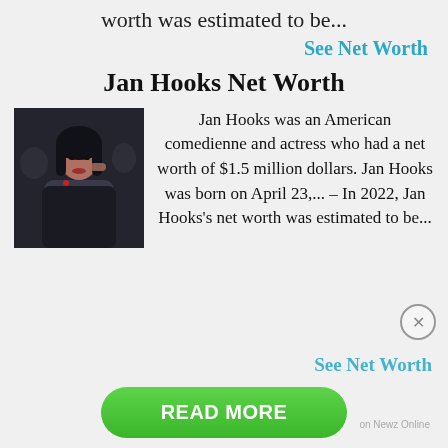worth was estimated to be...
See Net Worth
Jan Hooks Net Worth
[Figure (photo): Photo of Jan Hooks, a woman in dark clothing at a public event]
Jan Hooks was an American comedienne and actress who had a net worth of $1.5 million dollars. Jan Hooks was born on April 23,... – In 2022, Jan Hooks's net worth was estimated to be...
See Net Worth
READ MORE
on Newz Online